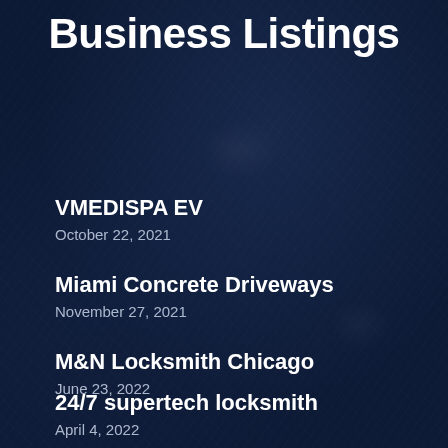Business Listings
VMEDISPA EV
October 22, 2021
Miami Concrete Driveways
November 27, 2021
M&N Locksmith Chicago
June 23, 2022
24/7 supertech locksmith
April 4, 2022